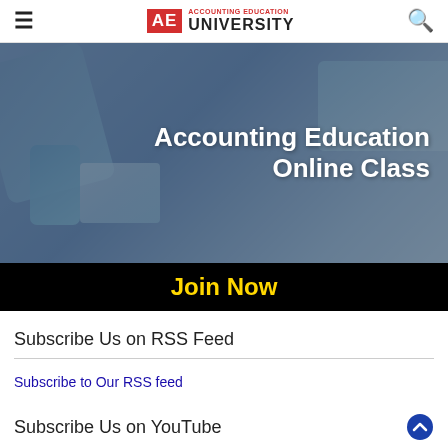≡  AE ACCOUNTING EDUCATION UNIVERSITY  🔍
[Figure (illustration): Banner image showing digital devices (tablet, laptop, phone, notebook) with text overlay 'Accounting Education Online Class' and a black bar below with 'Join Now' in yellow text.]
Subscribe Us on RSS Feed
Subscribe to Our RSS feed
Subscribe Us on YouTube